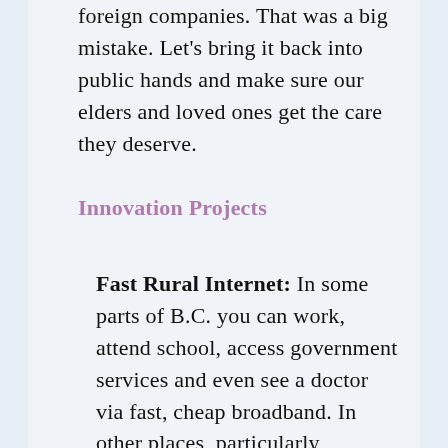foreign companies. That was a big mistake. Let's bring it back into public hands and make sure our elders and loved ones get the care they deserve.
Innovation Projects
Fast Rural Internet: In some parts of B.C. you can work, attend school, access government services and even see a doctor via fast, cheap broadband. In other places, particularly Indigenous, remote and low-income communities, the lack of affordable or fast Internet is a serious barrier. Now is the time for B.C. to expand its